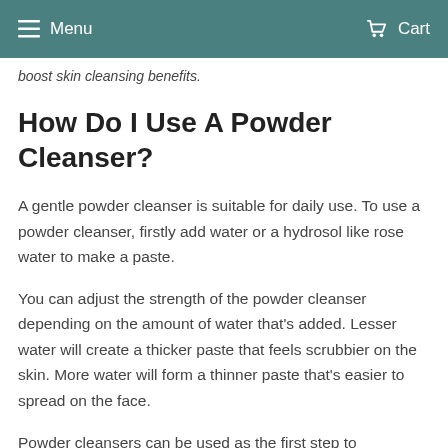Menu  Cart
boost skin cleansing benefits.
How Do I Use A Powder Cleanser?
A gentle powder cleanser is suitable for daily use. To use a powder cleanser, firstly add water or a hydrosol like rose water to make a paste.
You can adjust the strength of the powder cleanser depending on the amount of water that’s added. Lesser water will create a thicker paste that feels scrubbier on the skin. More water will form a thinner paste that’s easier to spread on the face.
Powder cleansers can be used as the first step to